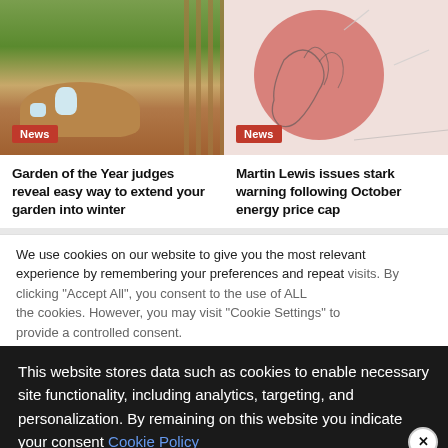[Figure (photo): Garden with wooden table, teapot and cups, brick wall and plants in background. Red 'News' badge overlay.]
[Figure (illustration): Abstract illustration with a salmon/red circle and a thin line drawing of hands on a light background. Red 'News' badge overlay.]
Garden of the Year judges reveal easy way to extend your garden into winter
Martin Lewis issues stark warning following October energy price cap
We use cookies on our website to give you the most relevant experience by remembering your preferences and repeat visits. By clicking "Accept All", you consent to the use of ALL the cookies. However, you may visit "Cookie Settings" to provide a controlled consent.
This website stores data such as cookies to enable necessary site functionality, including analytics, targeting, and personalization. By remaining on this website you indicate your consent Cookie Policy